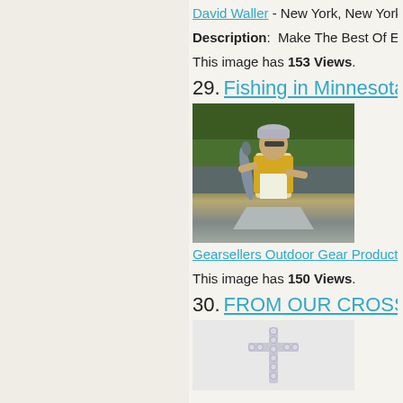David Waller - New York, New York
Description:  Make The Best Of Eve
This image has 153 Views.
29.  Fishing in Minnesota
[Figure (photo): Person on a boat holding a large fish, wearing a yellow vest and cap, with trees and water in background]
Gearsellers Outdoor Gear Product S
This image has 150 Views.
30.  FROM OUR CROSS CO
[Figure (photo): A decorative cross/jewelry item on light background]